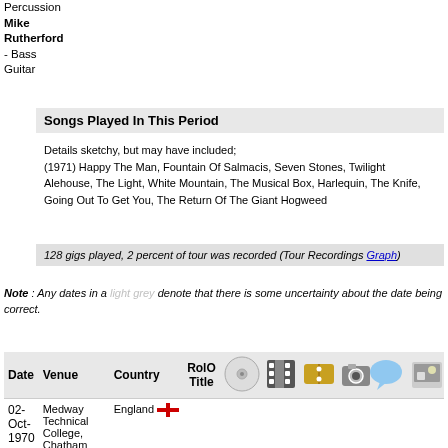Percussion
Mike Rutherford
- Bass
Guitar
Songs Played In This Period
Details sketchy, but may have included;
(1971) Happy The Man, Fountain Of Salmacis, Seven Stones, Twilight Alehouse, The Light, White Mountain, The Musical Box, Harlequin, The Knife, Going Out To Get You, The Return Of The Giant Hogweed
128 gigs played, 2 percent of tour was recorded (Tour Recordings Graph)
Note : Any dates in a light grey denote that there is some uncertainty about the date being correct.
| Date | Venue | Country | RolO Title | icons |
| --- | --- | --- | --- | --- |
| 02-Oct-1970 | Medway Technical College, Chatham | England |  |  |
| 03-Oct-1970 | Technical College, Farnborough | England |  |  |
| 04-Oct-1970 | Marquee Club, London | England |  | ticket, speech |
| 06-Oct-1970 | British Legion Hall, Princes Risborough | England |  |  |